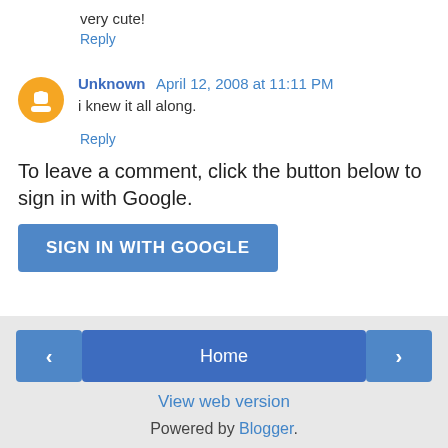very cute!
Reply
Unknown April 12, 2008 at 11:11 PM
i knew it all along.
Reply
To leave a comment, click the button below to sign in with Google.
SIGN IN WITH GOOGLE
Home
View web version
Powered by Blogger.